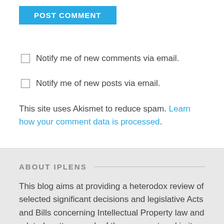[Figure (screenshot): Blue POST COMMENT button]
Notify me of new comments via email.
Notify me of new posts via email.
This site uses Akismet to reduce spam. Learn how your comment data is processed.
ABOUT IPLENS
This blog aims at providing a heterodox review of selected significant decisions and legislative Acts and Bills concerning Intellectual Property law and related matters, each of them reconstrued in its essential features, and critically commented.